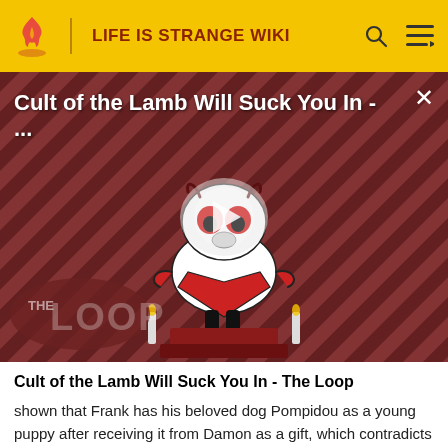LIFE IS STRANGE WIKI
[Figure (screenshot): Video thumbnail showing 'Cult of the Lamb Will Suck You In - ...' with a cartoon lamb character on a striped red/purple background, a play button in the center, and 'THE LOOP' text at the bottom left. A close button (X) is in the top right corner.]
Cult of the Lamb Will Suck You In - The Loop
shown that Frank has his beloved dog Pompidou as a young puppy after receiving it from Damon as a gift, which contradicts the story in the first game about him saving Pompidou from a dog fighting ring. But it's very